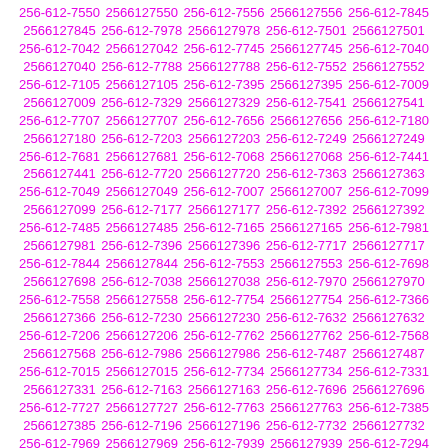256-612-7550 2566127550 256-612-7556 2566127556 256-612-7845 2566127845 256-612-7978 2566127978 256-612-7501 2566127501 256-612-7042 2566127042 256-612-7745 2566127745 256-612-7040 2566127040 256-612-7788 2566127788 256-612-7552 2566127552 256-612-7105 2566127105 256-612-7395 2566127395 256-612-7009 2566127009 256-612-7329 2566127329 256-612-7541 2566127541 256-612-7707 2566127707 256-612-7656 2566127656 256-612-7180 2566127180 256-612-7203 2566127203 256-612-7249 2566127249 256-612-7681 2566127681 256-612-7068 2566127068 256-612-7441 2566127441 256-612-7720 2566127720 256-612-7363 2566127363 256-612-7049 2566127049 256-612-7007 2566127007 256-612-7099 2566127099 256-612-7177 2566127177 256-612-7392 2566127392 256-612-7485 2566127485 256-612-7165 2566127165 256-612-7981 2566127981 256-612-7396 2566127396 256-612-7717 2566127717 256-612-7844 2566127844 256-612-7553 2566127553 256-612-7698 2566127698 256-612-7038 2566127038 256-612-7970 2566127970 256-612-7558 2566127558 256-612-7754 2566127754 256-612-7366 2566127366 256-612-7230 2566127230 256-612-7632 2566127632 256-612-7206 2566127206 256-612-7762 2566127762 256-612-7568 2566127568 256-612-7986 2566127986 256-612-7487 2566127487 256-612-7015 2566127015 256-612-7734 2566127734 256-612-7331 2566127331 256-612-7163 2566127163 256-612-7696 2566127696 256-612-7727 2566127727 256-612-7763 2566127763 256-612-7385 2566127385 256-612-7196 2566127196 256-612-7732 2566127732 256-612-7969 2566127969 256-612-7939 2566127939 256-612-7294